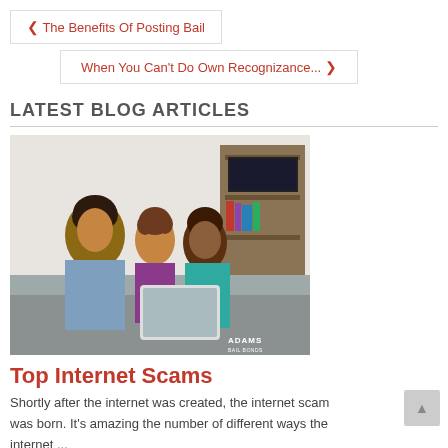‹ The Benefits Of Posting Bail
When You Can't Do Own Recognizance... ›
LATEST BLOG ARTICLES
[Figure (photo): Family of three — father, young daughter, and mother — sitting on a couch looking at a tablet together, smiling. Adams bail bonds watermark in bottom right.]
Top Internet Scams
Shortly after the internet was created, the internet scam was born. It's amazing the number of different ways the internet ...